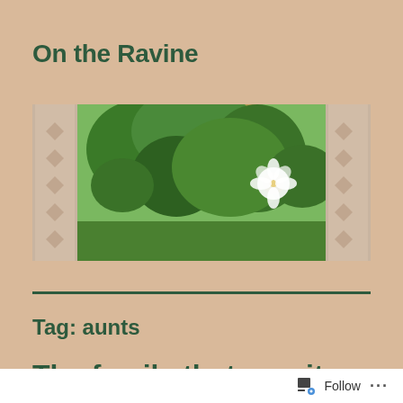On the Ravine
[Figure (photo): A view through sheer curtains of green trees and foliage with a white hibiscus flower visible, outdoor garden scene]
Tag: aunts
The family that reunites...
Follow ...